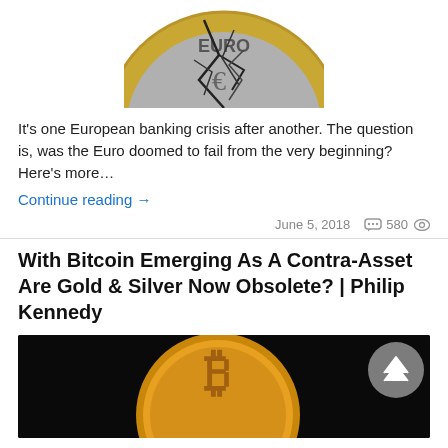[Figure (photo): Cracked Euro coin - top portion visible, showing cracks across the coin surface, gold and silver colored]
It's one European banking crisis after another. The question is, was the Euro doomed to fail from the very beginning? Here's more…
Continue reading →
June 5, 2018   💬 580 👁
With Bitcoin Emerging As A Contra-Asset Are Gold & Silver Now Obsolete? | Philip Kennedy
[Figure (photo): Bitcoin gold coin on black background, partially visible, with back-to-top arrow button overlay]